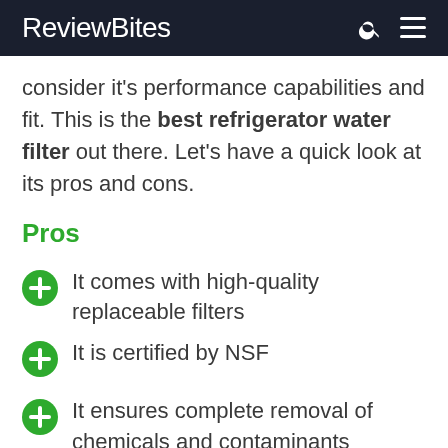ReviewBites
consider it's performance capabilities and fit. This is the best refrigerator water filter out there. Let's have a quick look at its pros and cons.
Pros
It comes with high-quality replaceable filters
It is certified by NSF
It ensures complete removal of chemicals and contaminants